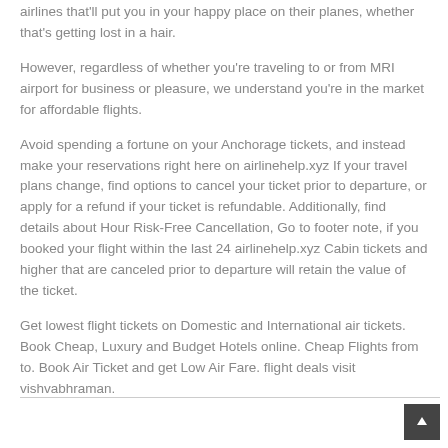airlines that'll put you in your happy place on their planes, whether that's getting lost in a hair.
However, regardless of whether you're traveling to or from MRI airport for business or pleasure, we understand you're in the market for affordable flights.
Avoid spending a fortune on your Anchorage tickets, and instead make your reservations right here on airlinehelp.xyz If your travel plans change, find options to cancel your ticket prior to departure, or apply for a refund if your ticket is refundable. Additionally, find details about Hour Risk-Free Cancellation, Go to footer note, if you booked your flight within the last 24 airlinehelp.xyz Cabin tickets and higher that are canceled prior to departure will retain the value of the ticket.
Get lowest flight tickets on Domestic and International air tickets. Book Cheap, Luxury and Budget Hotels online. Cheap Flights from to. Book Air Ticket and get Low Air Fare. flight deals visit vishvabhraman.